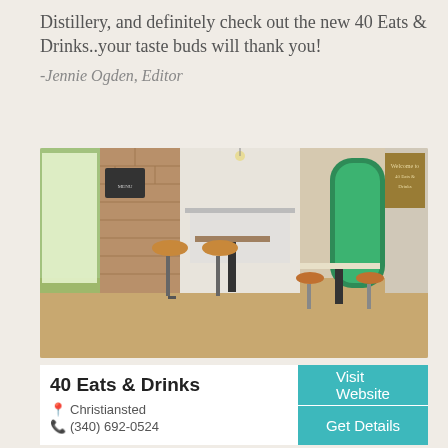Distillery, and definitely check out the new 40 Eats & Drinks..your taste buds will thank you!
-Jennie Ogden, Editor
[Figure (photo): Interior of 40 Eats & Drinks restaurant showing bar stools, tables, brick walls, green doors, and wood floors]
40 Eats & Drinks
Christiansted
(340) 692-0524
Visit Website
Get Details